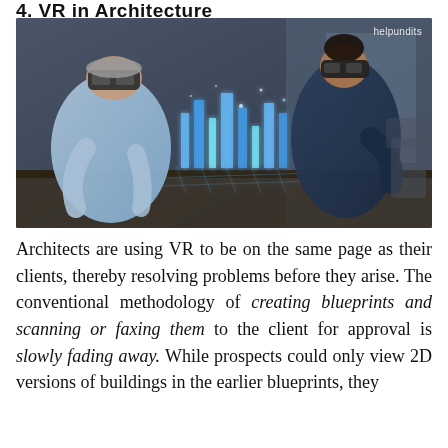4. VR in Architecture
[Figure (photo): Two professionals wearing VR headsets leaning over a table, examining a glowing holographic 3D city model projected on a surface in an office environment. Watermark reads 'helpundits' in top right corner.]
Architects are using VR to be on the same page as their clients, thereby resolving problems before they arise. The conventional methodology of creating blueprints and scanning or faxing them to the client for approval is slowly fading away. While prospects could only view 2D versions of buildings in the earlier blueprints, they